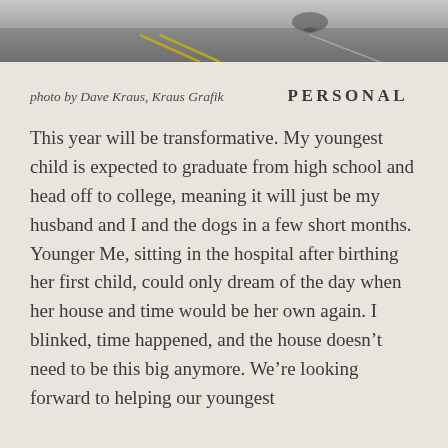[Figure (photo): A photograph showing a road surface, likely a cyclist on a road, taken by Dave Kraus of Kraus Grafik. The image is cropped showing mostly the road and a blurred figure.]
photo by Dave Kraus, Kraus Grafik
PERSONAL
This year will be transformative. My youngest child is expected to graduate from high school and head off to college, meaning it will just be my husband and I and the dogs in a few short months. Younger Me, sitting in the hospital after birthing her first child, could only dream of the day when her house and time would be her own again. I blinked, time happened, and the house doesn't need to be this big anymore. We're looking forward to helping our youngest